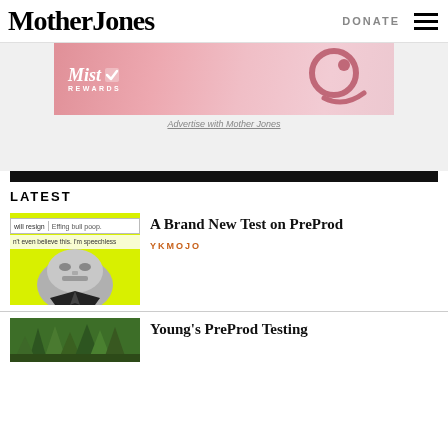Mother Jones
DONATE
[Figure (illustration): Mist Rewards advertisement banner with pink gradient background and cartoon pig silhouette]
Advertise with Mother Jones
LATEST
[Figure (photo): Article thumbnail showing autocomplete search bar with 'will resign' and 'Effing bull poop.' suggestions, tweet text below, and a yellow-highlighted grayscale portrait of a man's face]
A Brand New Test on PreProd
YKMOJO
[Figure (photo): Article thumbnail showing green forest trees]
Young's PreProd Testing